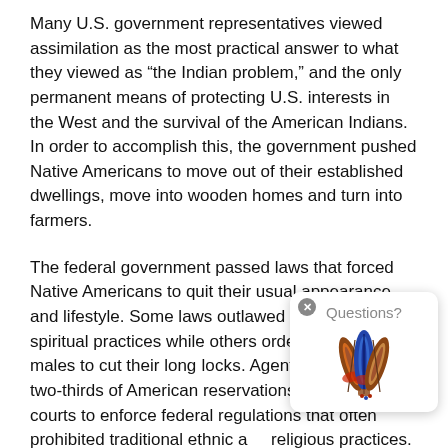Many U.S. government representatives viewed assimilation as the most practical answer to what they viewed as “the Indian problem,” and the only permanent means of protecting U.S. interests in the West and the survival of the American Indians. In order to accomplish this, the government pushed Native Americans to move out of their established dwellings, move into wooden homes and turn into farmers.
The federal government passed laws that forced Native Americans to quit their usual appearance and lifestyle. Some laws outlawed customary spiritual practices while others ordered Indian males to cut their long locks. Agents on more than two-thirds of American reservations organized courts to enforce federal regulations that often prohibited traditional ethnic and religious practices.
[Figure (illustration): A popup widget showing 'Questions?' label with a decorative Native American feathers illustration below it, with a close (x) button in the top-left corner.]